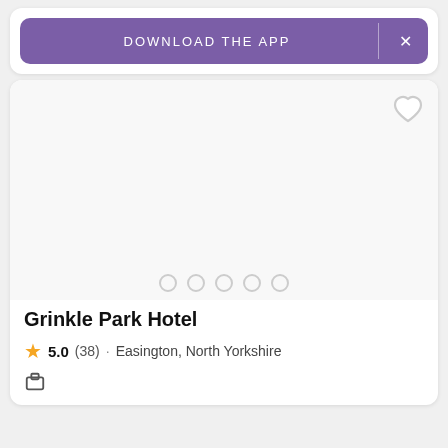[Figure (screenshot): Purple download the app banner with close button]
[Figure (photo): Hotel image area (blank/loading) with heart icon and carousel dots]
Grinkle Park Hotel
5.0 (38) · Easington, North Yorkshire